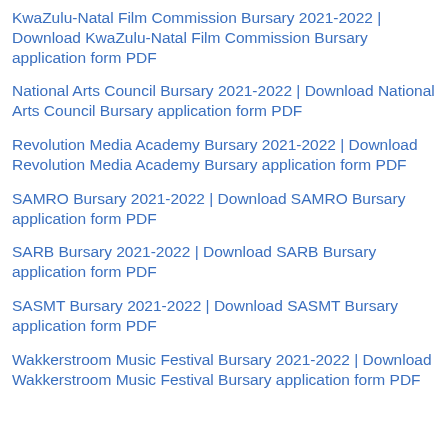KwaZulu-Natal Film Commission Bursary 2021-2022 | Download KwaZulu-Natal Film Commission Bursary application form PDF
National Arts Council Bursary 2021-2022 | Download National Arts Council Bursary application form PDF
Revolution Media Academy Bursary 2021-2022 | Download Revolution Media Academy Bursary application form PDF
SAMRO Bursary 2021-2022 | Download SAMRO Bursary application form PDF
SARB Bursary 2021-2022 | Download SARB Bursary application form PDF
SASMT Bursary 2021-2022 | Download SASMT Bursary application form PDF
Wakkerstroom Music Festival Bursary 2021-2022 | Download Wakkerstroom Music Festival Bursary application form PDF